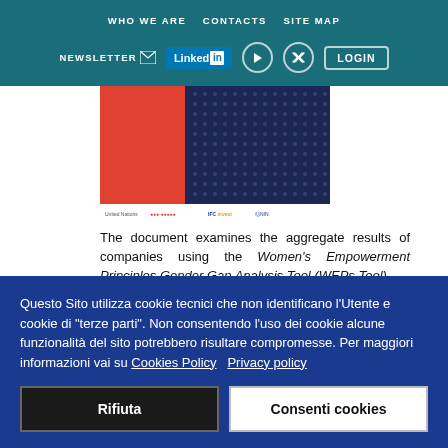WHO WE ARE   CONTACTS   SITE MAP
NEWSLETTER   LinkedIn   [YouTube]   [Twitter]   LOGIN
[Figure (illustration): Partial book/document cover with red and dark navy blue dotted pattern, with logos at the bottom including United Nations, ILO, IFC Invest, and others.]
The document examines the aggregate results of companies using the Women's Empowerment Principles Gender Gap Analysis Tool (WEPs Tool)
Questo Sito utilizza cookie tecnici che non identificano l'Utente e cookie di "terze parti". Non consentendo l'uso dei cookie alcune funzionalità del sito potrebbero risultare compromesse. Per maggiori informazioni vai su Cookies Policy   Privacy policy
Rifiuta   Consenti cookies